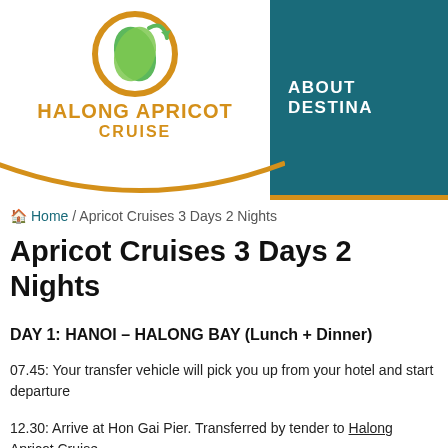[Figure (logo): Halong Apricot Cruise logo with orange circular icon containing a leaf, orange text 'HALONG APRICOT CRUISE', and teal navigation bar with 'ABOUT DESTINA...']
Home / Apricot Cruises 3 Days 2 Nights
Apricot Cruises 3 Days 2 Nights
DAY 1: HANOI – HALONG BAY (Lunch + Dinner)
07.45: Your transfer vehicle will pick you up from your hotel and start departure
12.30: Arrive at Hon Gai Pier. Transferred by tender to Halong Apricot Cruise.